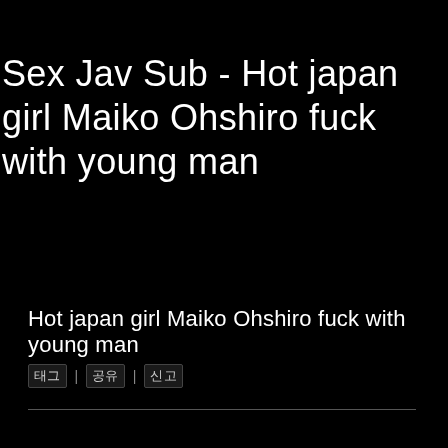Sex Jav Sub - Hot japan girl Maiko Ohshiro fuck with young man
Hot japan girl Maiko Ohshiro fuck with young man
태그 | 공유 | 신고